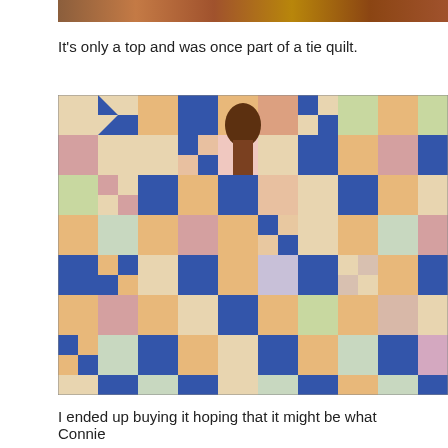[Figure (photo): Partial view of a colorful patchwork quilt top at the very top of the page, cropped]
It's only a top and was once part of a tie quilt.
[Figure (photo): Photograph of a colorful patchwork quilt top laid flat, showing a nine-patch and pinwheel pattern with blue, yellow, pink, red, and floral fabrics]
I ended up buying it hoping that it might be what Connie